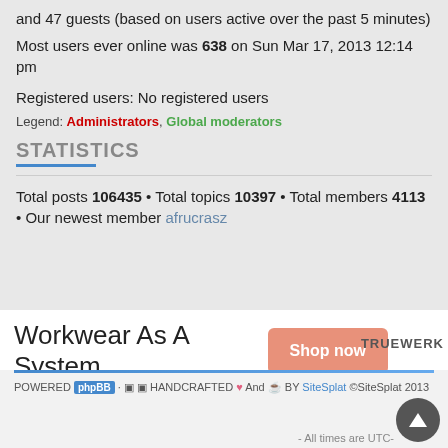and 47 guests (based on users active over the past 5 minutes)
Most users ever online was 638 on Sun Mar 17, 2013 12:14 pm
Registered users: No registered users
Legend: Administrators, Global moderators
STATISTICS
Total posts 106435 • Total topics 10397 • Total members 4113 • Our newest member afrucrasz
[Figure (infographic): Advertisement: Workwear As A System with Shop now button and TRUEWERK logo]
POWERED phpBB · HANDCRAFTED And BY SiteSplat ©SiteSplat 2013 - All times are UTC-